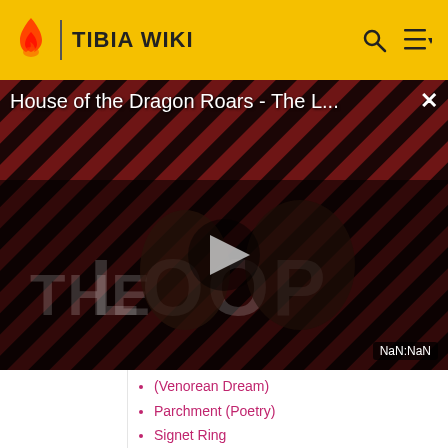TIBIA WIKI
[Figure (screenshot): Video player overlay showing 'House of the Dragon Roars - The L...' with a play button in the center. Background shows diagonal red and dark stripes with two figures and 'THE LOOP' text. Bottom right shows 'NaN:NaN' timestamp. Close (X) button top right.]
(Venorean Dream)
Parchment (Poetry)
Signet Ring
Barrel of Beer
File AH-X17L89
Elven Poetry Book
Rotten Heart of a Tree